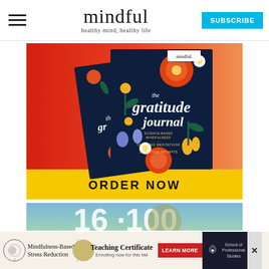mindful — healthy mind, healthy life — SUBSCRIBE
[Figure (illustration): Advertisement banner for 'the gratitude journal' — Mindful special edition. Two dark floral-covered journal books against a red-orange gradient background. Bottom yellow banner reads ORDER NOW.]
[Figure (photo): Partial second advertisement strip showing a nature/outdoor scene, partially obscured.]
[Figure (infographic): Bottom advertisement bar featuring: Mindfulness-Based Stress Reduction logo and text on left, Teaching Certificate with 'Enrolling now for this fall' in center with beige circle, LEARN MORE red button, and School of Professional Studies logo on dark background with X close button.]